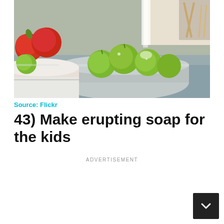[Figure (photo): Kitchen sink scene with green apples being rinsed in a stainless steel colander under running water, with red apples on a plate in the background]
Source: Flickr
43) Make erupting soap for the kids
ADVERTISEMENT